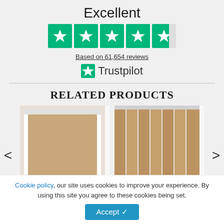Excellent
[Figure (infographic): Trustpilot 4.5-star rating widget with 5 green star boxes (last one half-filled)]
Based on 61,654 reviews
[Figure (logo): Trustpilot logo with green star icon and Trustpilot wordmark]
RELATED PRODUCTS
[Figure (photo): Two product images side by side: left shows a beige/tan roller blind in a white frame, right shows beige/tan vertical blinds with chains]
Cookie policy, our site uses cookies to improve your experience. By using this site you agree to these cookies being set.